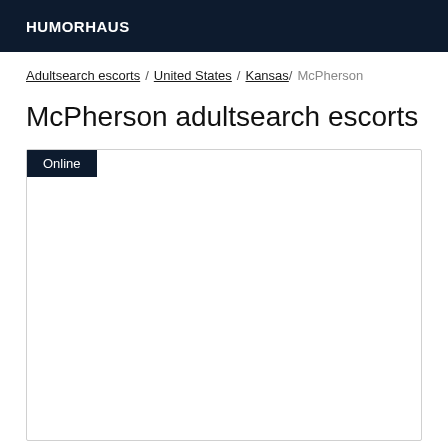HUMORHAUS
Adultsearch escorts / United States / Kansas / McPherson
McPherson adultsearch escorts
Online